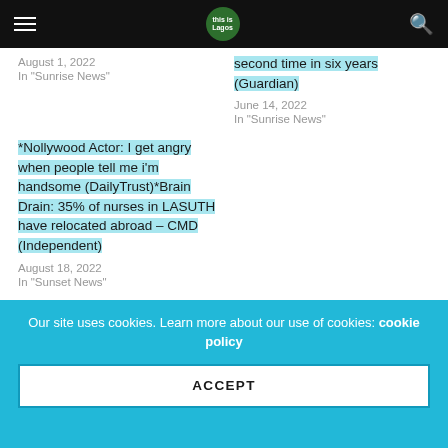Navigation bar with hamburger menu, logo, and search icon
August 1, 2022
In "Sunrise News"
second time in six years (Guardian)
June 14, 2022
In "Sunrise News"
*Nollywood Actor: I get angry when people tell me i'm handsome (DailyTrust)*Brain Drain: 35% of nurses in LASUTH have relocated abroad – CMD (Independent)
August 18, 2022
In "Sunset News"
Our site uses cookies. Learn more about our use of cookies: cookie policy
ACCEPT